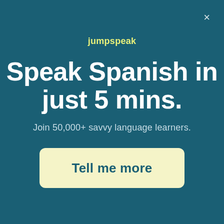×
jumpspeak
Speak Spanish in just 5 mins.
Join 50,000+ savvy language learners.
Tell me more